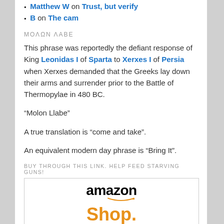Matthew W on Trust, but verify
B on The cam
ΜΟΛΩΝ ΛΑΒΕ
This phrase was reportedly the defiant response of King Leonidas I of Sparta to Xerxes I of Persia when Xerxes demanded that the Greeks lay down their arms and surrender prior to the Battle of Thermopylae in 480 BC.
“Molon Llabe”
A true translation is “come and take”.
An equivalent modern day phrase is “Bring It”.
BUY THROUGH THIS LINK. HELP FEED STARVING GUNS!
[Figure (logo): Amazon logo with 'amazon' in black bold text, orange smile arrow beneath, and 'Shop. Connect.' in large orange text below]